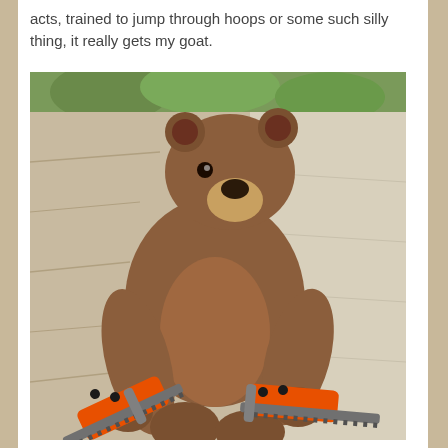acts, trained to jump through hoops or some such silly thing, it really gets my goat.
[Figure (photo): A brown grizzly bear standing upright on its hind legs, holding two orange chainsaws (one in each front paw), positioned against a rocky background with some green foliage visible at the top.]